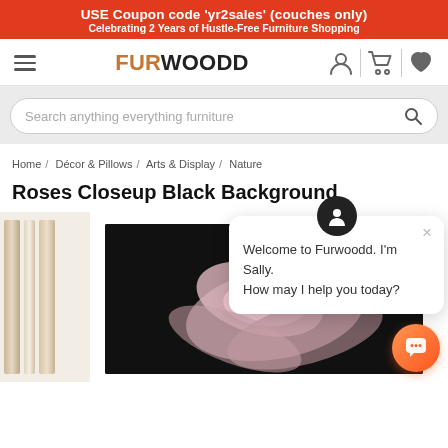USE Coupon code 'yr2sales' (couches only)
Celebrating 2 Years of Hustle-Free Furniture Shopping
[Figure (screenshot): FURWOODD logo with hamburger menu icon on left, and user/cart/heart icons on right]
Search anything everything furniture
Home / Décor & Pillows / Arts & Display / Nature
Roses Closeup Black Background
[Figure (photo): Product image showing rose closeup on black background in a light wood frame, with a chat assistant popup overlay showing avatar of Sally and message 'Welcome to Furwoodd. I'm Sally. How may I help you today?' and an orange chat button in the bottom right corner]